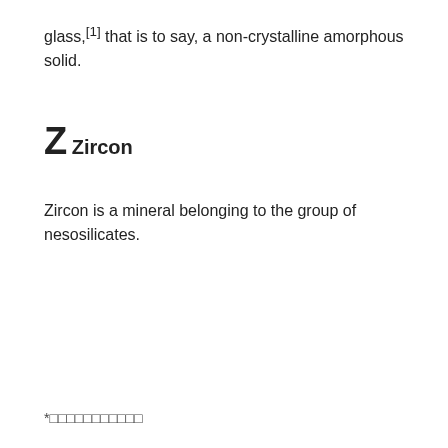glass,[1] that is to say, a non-crystalline amorphous solid.
Z
Zircon
Zircon is a mineral belonging to the group of nesosilicates.
*□□□□□□□□□□□